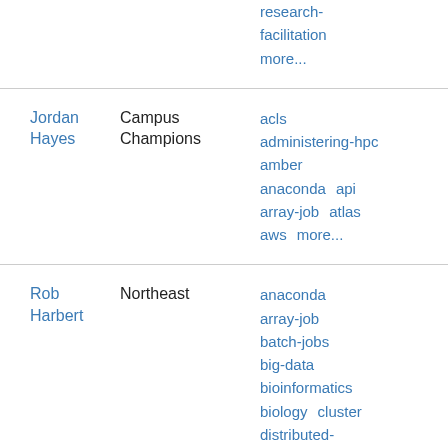| Name | Group | Tags |
| --- | --- | --- |
|  |  | research-facilitation
more... |
| Jordan Hayes | Campus Champions | acls
administering-hpc
amber
anaconda  api
array-job  atlas
aws  more... |
| Rob Harbert | Northeast | anaconda
array-job
batch-jobs
big-data
bioinformatics
biology  cluster
distributed-computing |